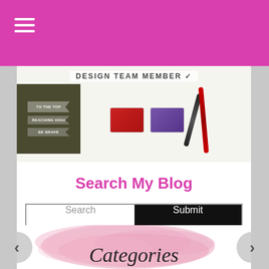[Figure (screenshot): Pink navigation bar with hamburger menu icon (three white horizontal lines) on the left]
[Figure (photo): Banner image showing 'DESIGN TEAM MEMBER' text with dark olive ribbon strips and craft supplies including red and purple ink pads and black pens on a light background]
Search My Blog
[Figure (screenshot): Search bar with 'Search' placeholder text on left and black 'Submit' button on right]
[Figure (illustration): Pink watercolor brush stroke background with 'Categories' written in cursive script text over it]